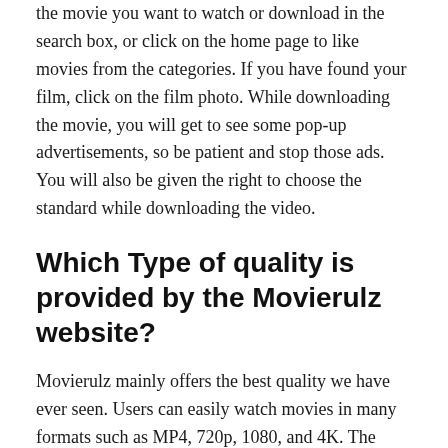the movie you want to watch or download in the search box, or click on the home page to like movies from the categories. If you have found your film, click on the film photo. While downloading the movie, you will get to see some pop-up advertisements, so be patient and stop those ads. You will also be given the right to choose the standard while downloading the video.
Which Type of quality is provided by the Movierulz website?
Movierulz mainly offers the best quality we have ever seen. Users can easily watch movies in many formats such as MP4, 720p, 1080, and 4K. The print quality of movies is not HD, however, a user can watch it. Sometimes the quality of print and audio can make you feel bad. But if you look at some other files, you can get a good print quality.